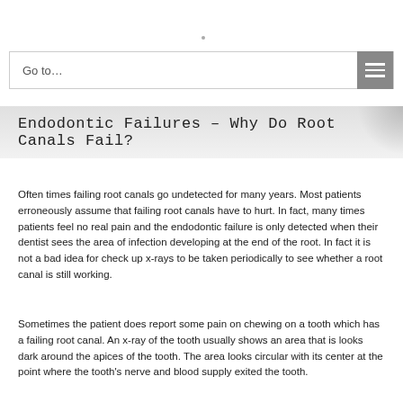Go to...
Endodontic Failures – Why Do Root Canals Fail?
Often times failing root canals go undetected for many years. Most patients erroneously assume that failing root canals have to hurt. In fact, many times patients feel no real pain and the endodontic failure is only detected when their dentist sees the area of infection developing at the end of the root. In fact it is not a bad idea for check up x-rays to be taken periodically to see whether a root canal is still working.
Sometimes the patient does report some pain on chewing on a tooth which has a failing root canal. An x-ray of the tooth usually shows an area that is looks dark around the apices of the tooth. The area looks circular with its center at the point where the tooth's nerve and blood supply exited the tooth. This darkness is an indication of the dissolution of bone continuing at the If ...